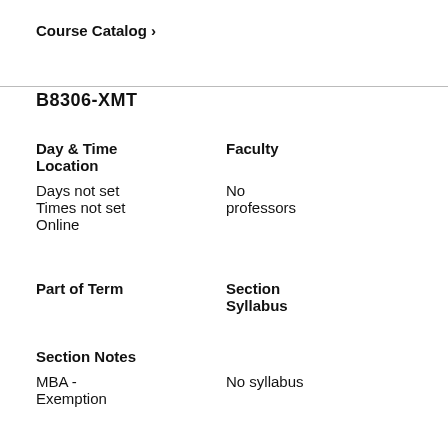Course Catalog >
B8306-XMT
| Day & Time | Faculty |
| --- | --- |
| Days not set | No |
| Times not set | professors |
| Online |  |
| Part of Term | Section
Syllabus |
| --- | --- |
|  |  |
Section Notes
| MBA -
Exemption | No syllabus |